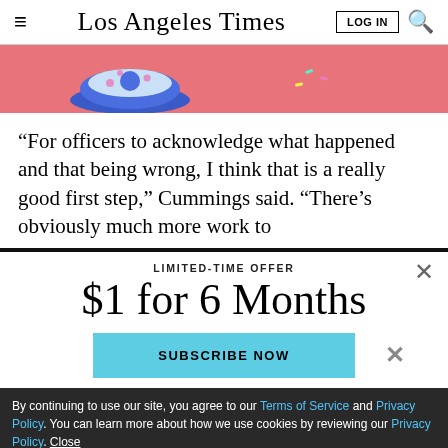Los Angeles Times | LOG IN | [search]
[Figure (illustration): Colorful illustrated banner with cartoon food items (donuts/burgers) on a pink/salmon background]
“For officers to acknowledge what happened and that being wrong, I think that is a really good first step,” Cummings said. “There’s obviously much more work to
LIMITED-TIME OFFER
$1 for 6 Months
SUBSCRIBE NOW
By continuing to use our site, you agree to our Terms of Service and Privacy Policy. You can learn more about how we use cookies by reviewing our Privacy Policy. Close